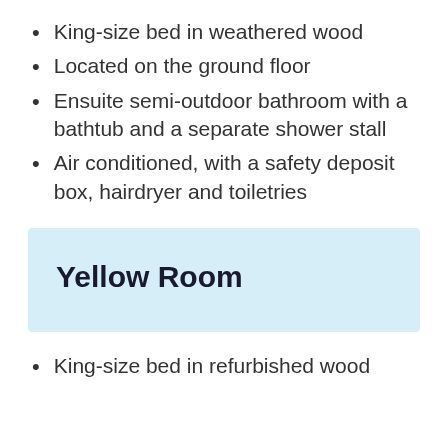King-size bed in weathered wood
Located on the ground floor
Ensuite semi-outdoor bathroom with a bathtub and a separate shower stall
Air conditioned, with a safety deposit box, hairdryer and toiletries
Yellow Room
King-size bed in refurbished wood